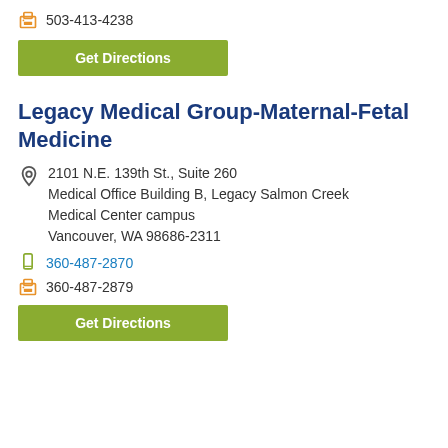503-413-4238
Get Directions
Legacy Medical Group-Maternal-Fetal Medicine
2101 N.E. 139th St., Suite 260
Medical Office Building B, Legacy Salmon Creek Medical Center campus
Vancouver, WA 98686-2311
360-487-2870
360-487-2879
Get Directions